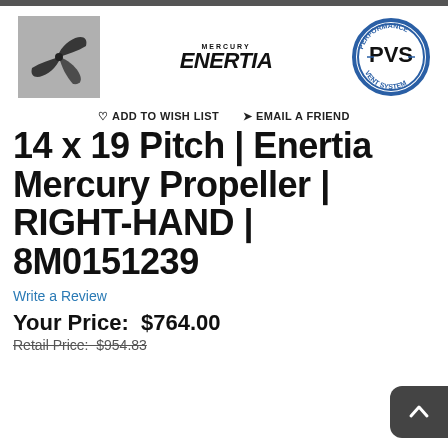[Figure (photo): Propeller product image, gray background with three-blade propeller]
[Figure (logo): Mercury Enertia brand logo in bold italic text]
[Figure (logo): PVS Performance Vent System circular badge logo]
♡ ADD TO WISH LIST   ✈ EMAIL A FRIEND
14 x 19 Pitch | Enertia Mercury Propeller | RIGHT-HAND | 8M0151239
Write a Review
Your Price:  $764.00
Retail Price: $954.83